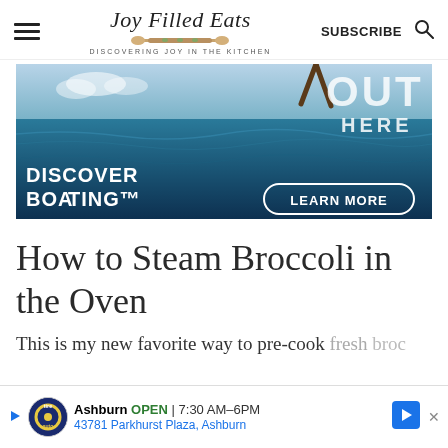Joy Filled Eats — DISCOVERING JOY IN THE KITCHEN | SUBSCRIBE
[Figure (photo): Discover Boating advertisement banner showing ocean water with a person jumping, text 'OUT HERE', 'DISCOVER BOATING', and 'LEARN MORE' button]
How to Steam Broccoli in the Oven
This is my new favorite way to pre-cook fresh broccoli to add them to the baking dish I'm planning on
[Figure (infographic): Tire Auto local ad overlay: Ashburn OPEN 7:30AM-6PM, 43781 Parkhurst Plaza, Ashburn]